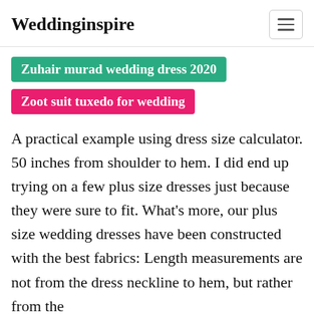Weddinginspire
Zuhair murad wedding dress 2020
Zoot suit tuxedo for wedding
A practical example using dress size calculator. 50 inches from shoulder to hem. I did end up trying on a few plus size dresses just because they were sure to fit. What's more, our plus size wedding dresses have been constructed with the best fabrics: Length measurements are not from the dress neckline to hem, but rather from the